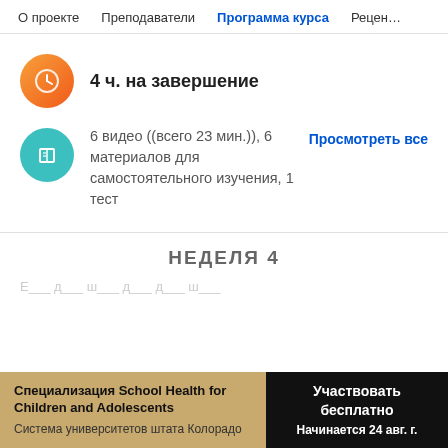О проекте   Преподаватели   Программа курса   Рецен…
4 ч. на завершение
6 видео ((всего 23 мин.)), 6 материалов для самостоятельного изучения, 1 тест
Просмотреть все
НЕДЕЛЯ 4
Специализация School Health for Children and Adolescents
Система университетов штата Колорадо
Участвовать бесплатно
Начинается 24 авг. г.